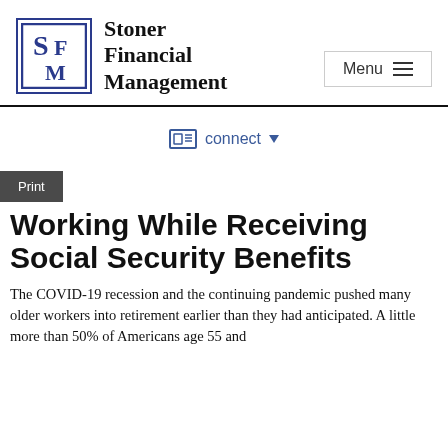Stoner Financial Management
connect
Print
Working While Receiving Social Security Benefits
The COVID-19 recession and the continuing pandemic pushed many older workers into retirement earlier than they had anticipated. A little more than 50% of Americans age 55 and